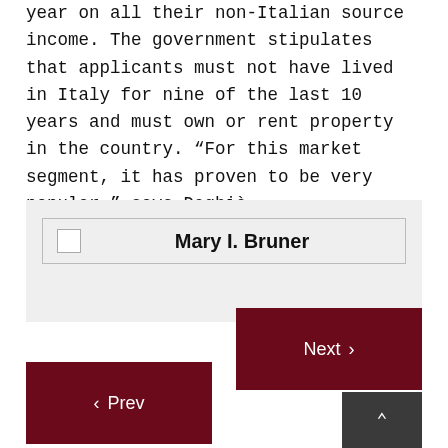year on all their non-Italian source income. The government stipulates that applicants must not have lived in Italy for nine of the last 10 years and must own or rent property in the country. “For this market segment, it has proven to be very popular,” says Deghè.
Mary I. Bruner
< Prev   Next >